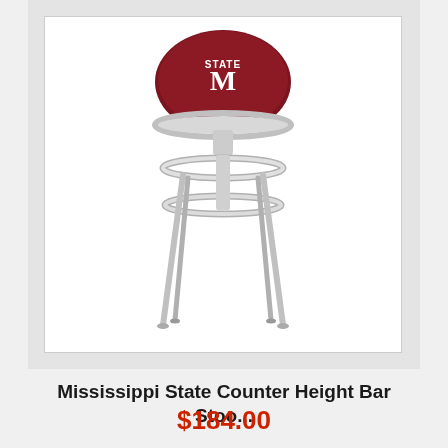[Figure (photo): A bar stool with a dark red/maroon circular seat cushion featuring the Mississippi State 'M STATE' logo. The stool has a chrome double-ring frame with four chrome legs.]
Mississippi State Counter Height Bar Stoo...
$184.00